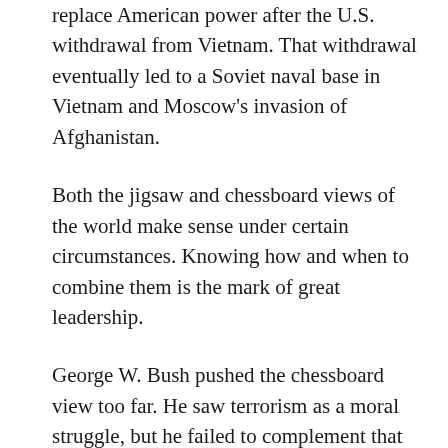replace American power after the U.S. withdrawal from Vietnam. That withdrawal eventually led to a Soviet naval base in Vietnam and Moscow's invasion of Afghanistan.
Both the jigsaw and chessboard views of the world make sense under certain circumstances. Knowing how and when to combine them is the mark of great leadership.
George W. Bush pushed the chessboard view too far. He saw terrorism as a moral struggle, but he failed to complement that view with a timely jigsaw-puzzle strategy. The time for diplomacy was most favorable in the summer of 2003. The successful invasions of both